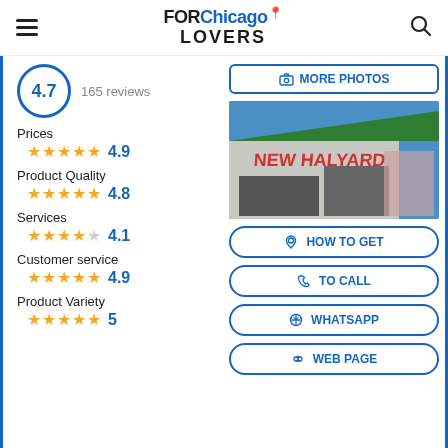FOR Chicago LOVERS
4.7 — 165 reviews
Prices ★★★★★ 4.9
Product Quality ★★★★★ 4.8
Services ★★★★☆ 4.1
Customer service ★★★★★ 4.9
Product Variety ★★★★★ 5
[Figure (photo): Storefront of New Halyard store with green roof and large red letters on the building facade, blue sky background]
MORE PHOTOS
HOW TO GET
TO CALL
WHATSAPP
WEB PAGE